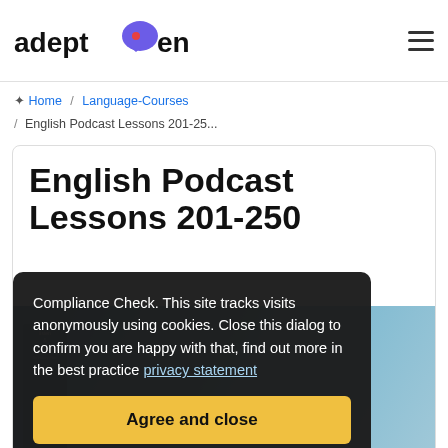[Figure (logo): Adept English logo with speech bubble icon and text 'adept english']
Home / Language-Courses / English Podcast Lessons 201-25...
English Podcast Lessons 201-250
Compliance Check. This site tracks visits anonymously using cookies. Close this dialog to confirm you are happy with that, find out more in the best practice privacy statement
Agree and close
[Figure (photo): Partial view of book/course materials at bottom of page, showing text 'LESSONS IN ONE GO' and a woman's face]